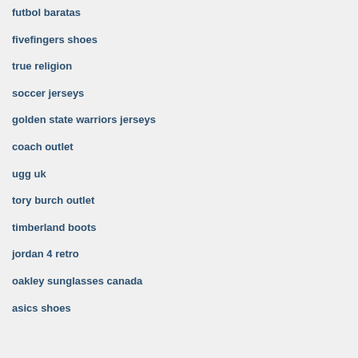futbol baratas
fivefingers shoes
true religion
soccer jerseys
golden state warriors jerseys
coach outlet
ugg uk
tory burch outlet
timberland boots
jordan 4 retro
oakley sunglasses canada
asics shoes